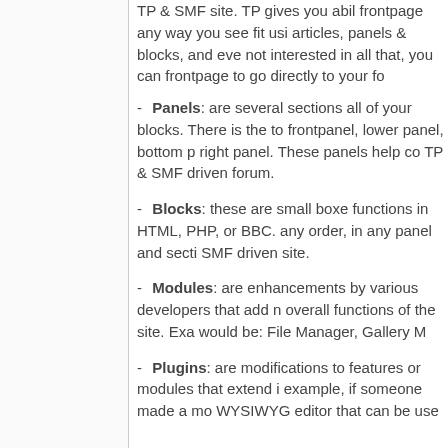TP & SMF site. TP gives you abil frontpage any way you see fit usi articles, panels & blocks, and eve not interested in all that, you can frontpage to go directly to your fo
Panels: are several sections all of your blocks. There is the to frontpanel, lower panel, bottom p right panel. These panels help co TP & SMF driven forum.
Blocks: these are small boxe functions in HTML, PHP, or BBC. any order, in any panel and secti SMF driven site.
Modules: are enhancements by various developers that add n overall functions of the site. Exa would be: File Manager, Gallery M
Plugins: are modifications to features or modules that extend i example, if someone made a mo WYSIWYG editor that can be use